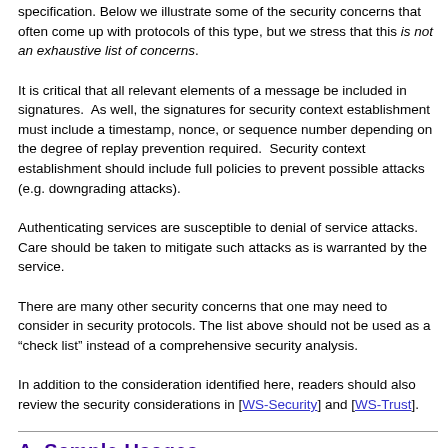specification. Below we illustrate some of the security concerns that often come up with protocols of this type, but we stress that this is not an exhaustive list of concerns.
It is critical that all relevant elements of a message be included in signatures.  As well, the signatures for security context establishment must include a timestamp, nonce, or sequence number depending on the degree of replay prevention required.  Security context establishment should include full policies to prevent possible attacks (e.g. downgrading attacks).
Authenticating services are susceptible to denial of service attacks.  Care should be taken to mitigate such attacks as is warranted by the service.
There are many other security concerns that one may need to consider in security protocols. The list above should not be used as a "check list" instead of a comprehensive security analysis.
In addition to the consideration identified here, readers should also review the security considerations in [WS-Security] and [WS-Trust].
A  Sample Usages